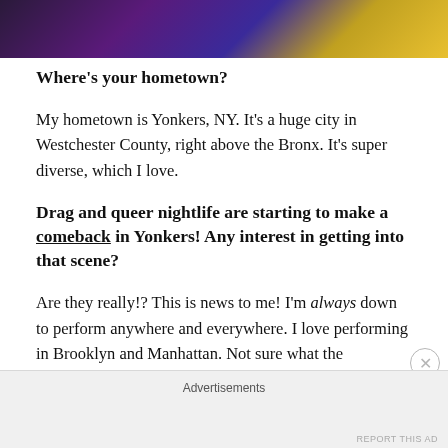[Figure (photo): Partial photo strip at top of page showing colorful image with purple, blue, and yellow tones]
Where's your hometown?
My hometown is Yonkers, NY. It's a huge city in Westchester County, right above the Bronx. It's super diverse, which I love.
Drag and queer nightlife are starting to make a comeback in Yonkers! Any interest in getting into that scene?
Are they really!? This is news to me! I'm always down to perform anywhere and everywhere. I love performing in Brooklyn and Manhattan. Not sure what the [Yonkers] scene
Advertisements